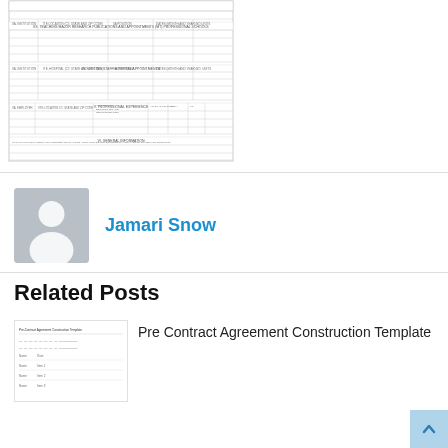[Figure (table-as-image): Scanned document form with multiple sections including teaching/major research, professional experience, and general information sections with tabular data rows]
Jamari Snow
Related Posts
[Figure (table-as-image): Thumbnail image of Pre Contract Agreement Construction Template document]
Pre Contract Agreement Construction Template